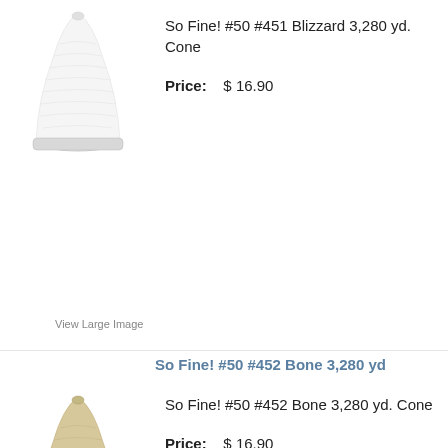[Figure (photo): White thread cone spool - So Fine! #50 #451 Blizzard]
So Fine! #50 #451 Blizzard 3,280 yd. Cone
Price:   $ 16.90
View Large Image
So Fine! #50 #452 Bone 3,280 yd
[Figure (photo): Beige/bone colored thread cone spool - So Fine! #50 #452 Bone]
So Fine! #50 #452 Bone 3,280 yd. Cone
Price:   $ 16.90
View Large Image
So Fine! #50 #503 Genoa Gray 3,280 yd
[Figure (photo): Gray thread cone spool - So Fine! #50 #503 Genoa Gray]
So Fine! #50 #503 Genoa Gray 3,280 yd.